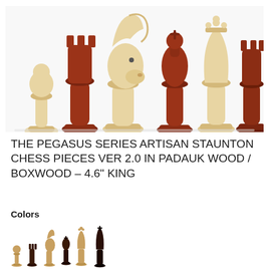[Figure (photo): Six wooden Staunton chess pieces displayed in a row against a white background — alternating light boxwood and dark padauk wood pieces: pawn, rook, knight, bishop, queen, and rook, from left to right.]
THE PEGASUS SERIES ARTISAN STAUNTON CHESS PIECES VER 2.0 IN PADAUK WOOD / BOXWOOD – 4.6" KING
Colors
[Figure (photo): Small chess pieces shown in a row — mix of light tan/boxwood and dark/black pieces including pawns, knights, bishops, and a king.]